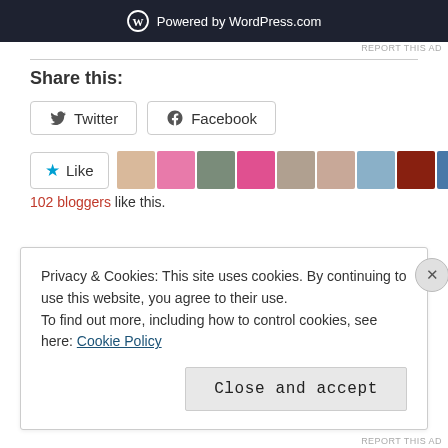[Figure (screenshot): WordPress.com powered banner — dark navy background with WordPress logo (circle W) and text 'Powered by WordPress.com']
REPORT THIS AD
Share this:
[Figure (screenshot): Twitter share button with Twitter bird icon and label 'Twitter']
[Figure (screenshot): Facebook share button with Facebook f icon and label 'Facebook']
[Figure (screenshot): Like button with blue star icon and label 'Like', followed by a row of 10 blogger avatar thumbnails]
102 bloggers like this.
Privacy & Cookies: This site uses cookies. By continuing to use this website, you agree to their use.
To find out more, including how to control cookies, see here: Cookie Policy
Close and accept
REPORT THIS AD